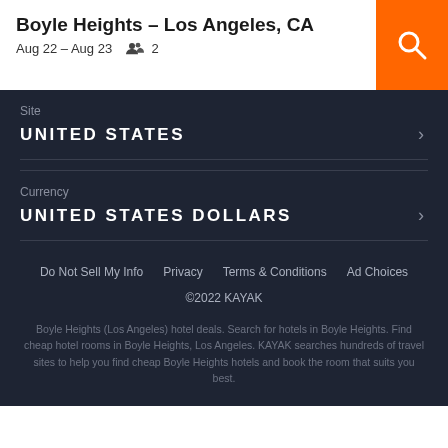Boyle Heights – Los Angeles, CA
Aug 22 – Aug 23   2
Site
UNITED STATES
Currency
UNITED STATES DOLLARS
Do Not Sell My Info   Privacy   Terms & Conditions   Ad Choices
©2022 KAYAK
Boyle Heights (Los Angeles) hotel deals. Search for hotels in Boyle Heights. Find cheap hotel rooms in Boyle Heights, Los Angeles. KAYAK searches hundreds of travel sites to help you find cheap Boyle Heights hotels and book the room that suits you best.